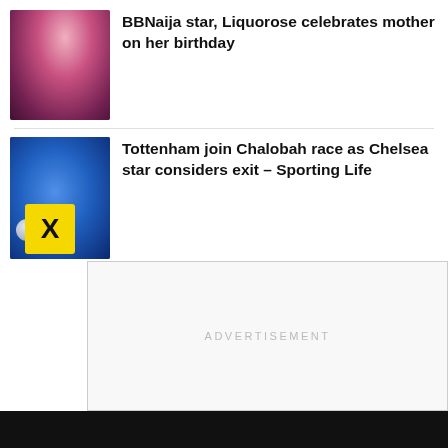[Figure (photo): Thumbnail photo of BBNaija star Liquorose, woman with dark hair and pink/red background]
BBNaija star, Liquorose celebrates mother on her birthday
[Figure (photo): Thumbnail photo of a Chelsea footballer (Chalobah) in blue kit dribbling a ball]
Tottenham join Chalobah race as Chelsea star considers exit – Sporting Life
[Figure (other): Advertisement placeholder box with yellow X close button and ADVERTISEMENT label]
[Figure (other): Dark footer section with Facebook, Twitter, and Instagram social media icon buttons]
SHARE   TWEET   ...